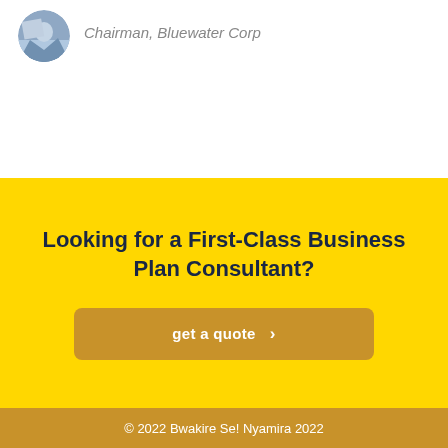Chairman, Bluewater Corp
Looking for a First-Class Business Plan Consultant?
get a quote  >
© 2022 Bwakire Se! Nyamira 2022